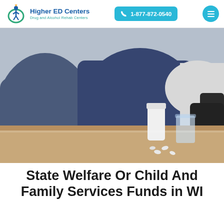Higher ED Centers | Drug and Alcohol Rehab Centers | 1-877-872-0540
[Figure (photo): Close-up photo of a person sitting with hands clasped over knees wearing jeans, with medication bottles, a glass of water, and pills on a wooden table in the foreground.]
State Welfare Or Child And Family Services Funds in WI